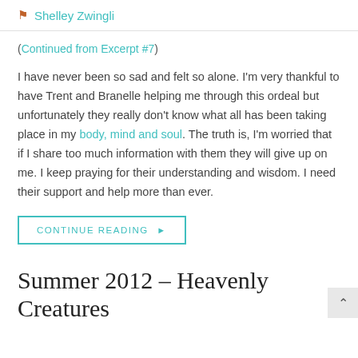Shelley Zwingli
(Continued from Excerpt #7)
I have never been so sad and felt so alone. I'm very thankful to have Trent and Branelle helping me through this ordeal but unfortunately they really don't know what all has been taking place in my body, mind and soul. The truth is, I'm worried that if I share too much information with them they will give up on me. I keep praying for their understanding and wisdom. I need their support and help more than ever.
CONTINUE READING ▶
Summer 2012 – Heavenly Creatures